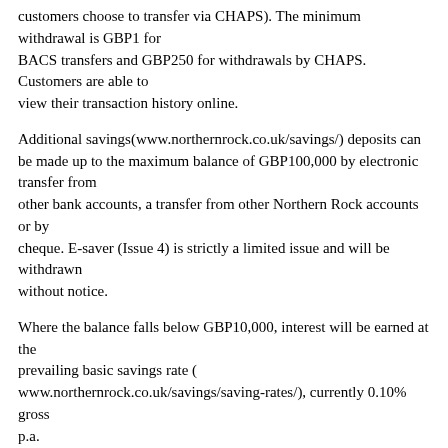customers choose to transfer via CHAPS). The minimum withdrawal is GBP1 for BACS transfers and GBP250 for withdrawals by CHAPS. Customers are able to view their transaction history online.
Additional savings(www.northernrock.co.uk/savings/) deposits can be made up to the maximum balance of GBP100,000 by electronic transfer from other bank accounts, a transfer from other Northern Rock accounts or by cheque. E-saver (Issue 4) is strictly a limited issue and will be withdrawn without notice.
Where the balance falls below GBP10,000, interest will be earned at the prevailing basic savings rate (www.northernrock.co.uk/savings/saving-rates/), currently 0.10% gross p.a.
Full product details can also be found at www.northernrock.co.uk.
Notes to Editors: